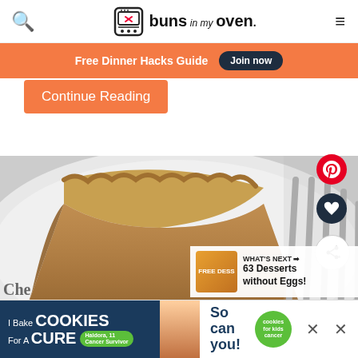buns in my oven.
Free Dinner Hacks Guide  Join now
Continue Reading
[Figure (photo): A slice of pumpkin or spiced custard pie on a white plate with a fork, close-up food photography. Pinterest, heart/save, and share buttons overlay the image. A 'WHAT'S NEXT' panel shows '63 Desserts without Eggs!']
WHAT'S NEXT → 63 Desserts without Eggs!
I Bake COOKIES For A CURE  Haldora, 11 Cancer Survivor  So can you!  cookies for kids cancer